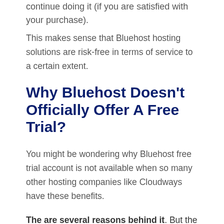continue doing it (if you are satisfied with your purchase).
This makes sense that Bluehost hosting solutions are risk-free in terms of service to a certain extent.
Why Bluehost Doesn't Officially Offer A Free Trial?
You might be wondering why Bluehost free trial account is not available when so many other hosting companies like Cloudways have these benefits.
The are several reasons behind it. But the first main